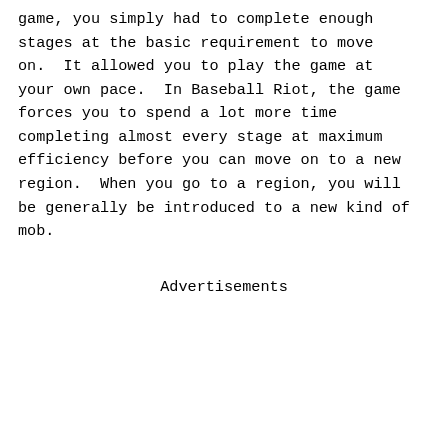game, you simply had to complete enough stages at the basic requirement to move on.  It allowed you to play the game at your own pace.  In Baseball Riot, the game forces you to spend a lot more time completing almost every stage at maximum efficiency before you can move on to a new region.  When you go to a region, you will be generally be introduced to a new kind of mob.
Advertisements